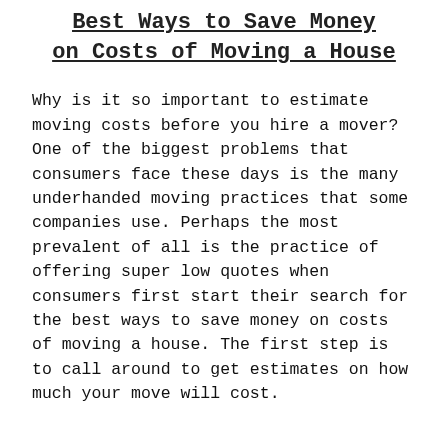Best Ways to Save Money on Costs of Moving a House
Why is it so important to estimate moving costs before you hire a mover? One of the biggest problems that consumers face these days is the many underhanded moving practices that some companies use. Perhaps the most prevalent of all is the practice of offering super low quotes when consumers first start their search for the best ways to save money on costs of moving a house. The first step is to call around to get estimates on how much your move will cost.